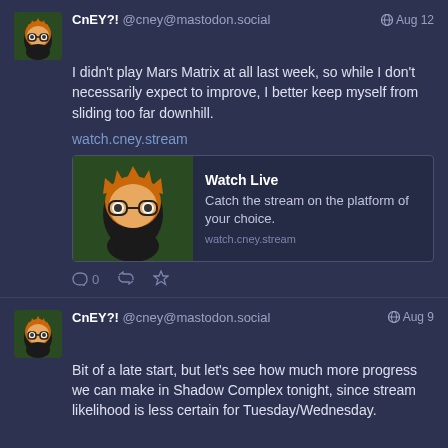CnEY?! @cney@mastodon.social Aug 12
I didn't play Mars Matrix at all last week, so while I don't necessarily expect to improve, I better keep myself from sliding too far downhill.

watch.cney.stream
[Figure (screenshot): Preview card for watch.cney.stream showing Watch Live title and 'Catch the stream on the platform of your choice.']
CnEY?! @cney@mastodon.social Aug 9
Bit of a late start, but let's see how much more progress we can make in Shadow Complex tonight, since stream likelihood is less certain for Tuesday/Wednesday.